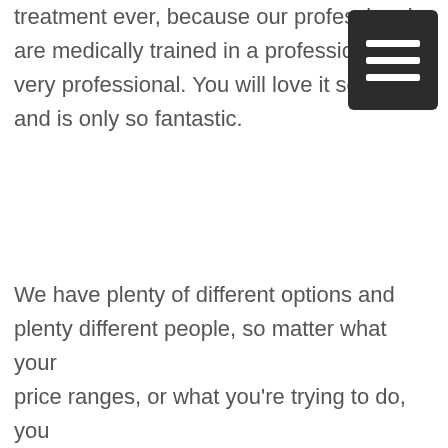treatment ever, because our professionals are medically trained in a professionals a very professional. You will love it so much, and is only so fantastic.
[Figure (other): Hamburger menu icon — dark square with three white horizontal bars]
We have plenty of different options and plenty different people, so matter what your price ranges, or what you're trying to do, you are running at the best treatment you will ever get in your entire life. Your absolute love work with us, read everything can to ensure that you the best are impossible, that your IV loving our services that you're going to do everything that you had to get the best possibility that you can ever get in your